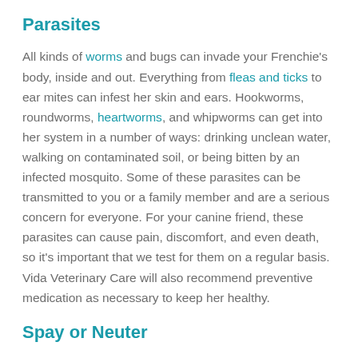Parasites
All kinds of worms and bugs can invade your Frenchie's body, inside and out. Everything from fleas and ticks to ear mites can infest her skin and ears. Hookworms, roundworms, heartworms, and whipworms can get into her system in a number of ways: drinking unclean water, walking on contaminated soil, or being bitten by an infected mosquito. Some of these parasites can be transmitted to you or a family member and are a serious concern for everyone. For your canine friend, these parasites can cause pain, discomfort, and even death, so it's important that we test for them on a regular basis. Vida Veterinary Care will also recommend preventive medication as necessary to keep her healthy.
Spay or Neuter